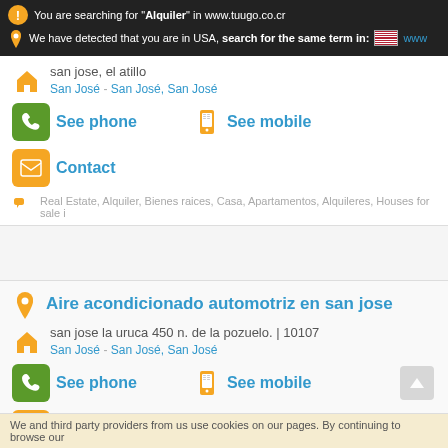You are searching for "Alquiler" in www.tuugo.co.cr
We have detected that you are in USA, search for the same term in: [US flag] www
san jose, el atillo
San José - San José, San José
See phone
See mobile
Contact
Real Estate, Alquiler, Bienes raices, Casa, Apartamentos, Alquileres, Houses for sale i
Aire acondicionado automotriz en san jose
san jose la uruca 450 n. de la pozuelo. | 10107
San José - San José, San José
See phone
See mobile
Contact
We and third party providers from us use cookies on our pages. By continuing to browse our